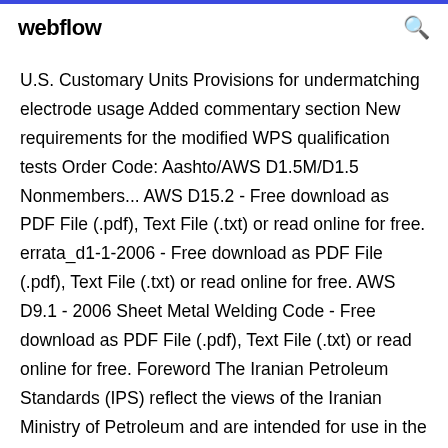webflow
U.S. Customary Units Provisions for undermatching electrode usage Added commentary section New requirements for the modified WPS qualification tests Order Code: Aashto/AWS D1.5M/D1.5 Nonmembers... AWS D15.2 - Free download as PDF File (.pdf), Text File (.txt) or read online for free. errata_d1-1-2006 - Free download as PDF File (.pdf), Text File (.txt) or read online for free. AWS D9.1 - 2006 Sheet Metal Welding Code - Free download as PDF File (.pdf), Text File (.txt) or read online for free. Foreword The Iranian Petroleum Standards (IPS) reflect the views of the Iranian Ministry of Petroleum and are intended for use in the oil and gas industries.